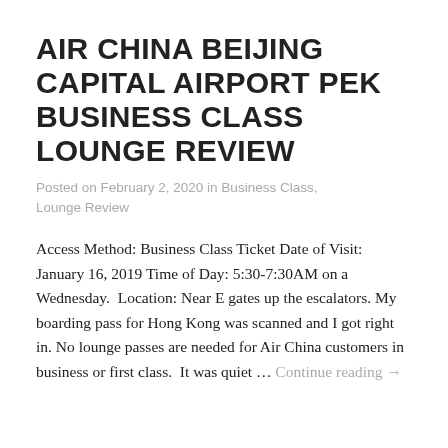AIR CHINA BEIJING CAPITAL AIRPORT PEK BUSINESS CLASS LOUNGE REVIEW
Posted on February 2, 2020 in Business Class, Lounge Review
Access Method: Business Class Ticket Date of Visit: January 16, 2019 Time of Day: 5:30-7:30AM on a Wednesday.  Location: Near E gates up the escalators. My boarding pass for Hong Kong was scanned and I got right in. No lounge passes are needed for Air China customers in business or first class.  It was quiet … Continue reading →